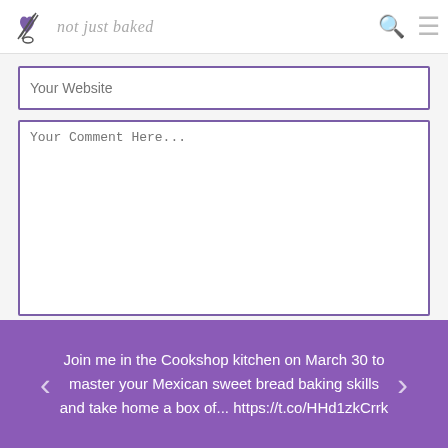not just baked
Your Website
Your Comment Here...
Submit Comment
[Figure (logo): CommentLuv checkbox with blue checkmark and commentluv brand logo text]
Join me in the Cookshop kitchen on March 30 to master your Mexican sweet bread baking skills and take home a box of... https://t.co/HHd1zkCrrk